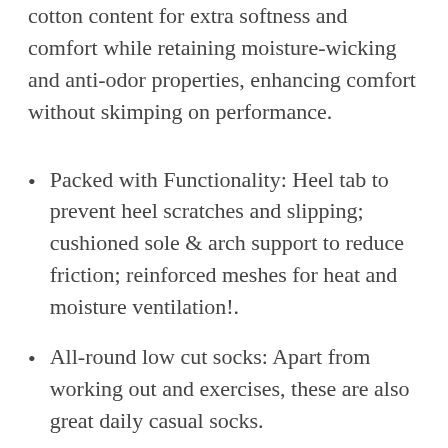cotton content for extra softness and comfort while retaining moisture-wicking and anti-odor properties, enhancing comfort without skimping on performance.
Packed with Functionality: Heel tab to prevent heel scratches and slipping; cushioned sole & arch support to reduce friction; reinforced meshes for heat and moisture ventilation!.
All-round low cut socks: Apart from working out and exercises, these are also great daily casual socks.
Reliable Fit with Quality Guarantee: We don’t believe in one size fits all, we got 3 sizes to fit Most! We offer 100% guarantee in the form of replacement or